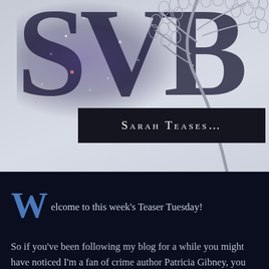[Figure (illustration): Blog header banner with large dark 'SVB' letters on a light textured background, a line-drawn cherry blossom tree on the right, and a dark banner reading 'SARAH TEASES...' in small caps white text]
Welcome to this week's Teaser Tuesday!
So if you've been following my blog for a while you might have noticed I'm a fan of crime author Patricia Gibney, you